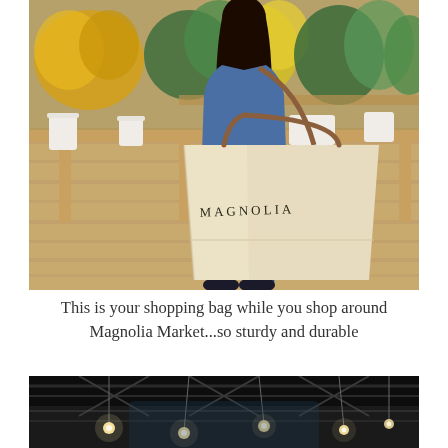[Figure (photo): A woman wearing a denim jacket carries a large beige canvas tote bag labeled 'MAGNOLIA' while browsing a flower shop display with yellow and green flowers in white pots on wooden tables, with warm hardwood floors.]
This is your shopping bag while you shop around Magnolia Market...so sturdy and durable
[Figure (photo): Interior architectural shot looking up at a barn-style ceiling with exposed trusses and hanging pendant lights with visible bulbs against a dark ceiling.]